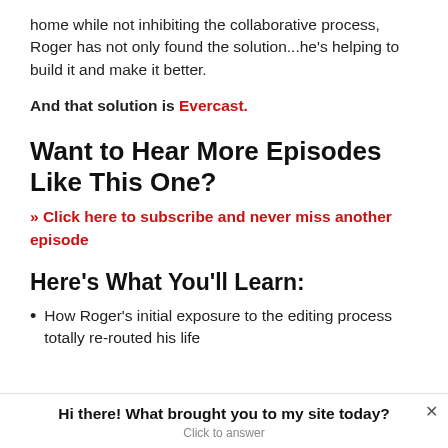home while not inhibiting the collaborative process, Roger has not only found the solution...he's helping to build it and make it better.
And that solution is Evercast.
Want to Hear More Episodes Like This One?
» Click here to subscribe and never miss another episode
Here's What You'll Learn:
How Roger's initial exposure to the editing process totally re-routed his life
Hi there! What brought you to my site today? Click to answer